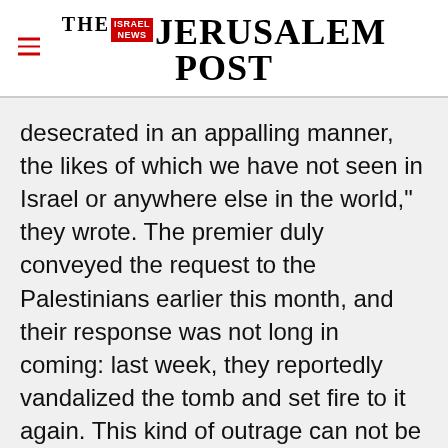THE JERUSALEM POST
desecrated in an appalling manner, the likes of which we have not seen in Israel or anywhere else in the world," they wrote. The premier duly conveyed the request to the Palestinians earlier this month, and their response was not long in coming: last week, they reportedly vandalized the tomb and set fire to it again. This kind of outrage can not be allowed to pass quietly. It would be a grave error for Israel to ignore the Palestinians'
Advertisement